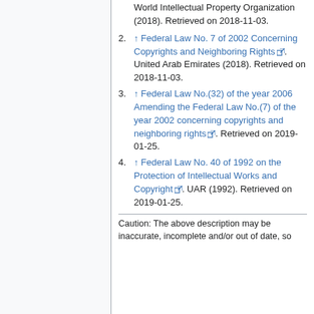World Intellectual Property Organization (2018). Retrieved on 2018-11-03.
↑ Federal Law No. 7 of 2002 Concerning Copyrights and Neighboring Rights [external link]. United Arab Emirates (2018). Retrieved on 2018-11-03.
↑ Federal Law No.(32) of the year 2006 Amending the Federal Law No.(7) of the year 2002 concerning copyrights and neighboring rights [external link]. Retrieved on 2019-01-25.
↑ Federal Law No. 40 of 1992 on the Protection of Intellectual Works and Copyright [external link]. UAR (1992). Retrieved on 2019-01-25.
Caution: The above description may be inaccurate, incomplete and/or out of date, so